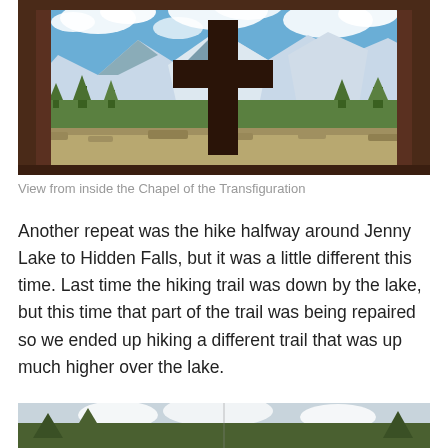[Figure (photo): View from inside the Chapel of the Transfiguration — a wooden window frame with a cross silhouette, looking out onto snow-capped Teton mountains, green trees, sagebrush meadow, and blue sky with white clouds.]
View from inside the Chapel of the Transfiguration
Another repeat was the hike halfway around Jenny Lake to Hidden Falls, but it was a little different this time. Last time the hiking trail was down by the lake, but this time that part of the trail was being repaired so we ended up hiking a different trail that was up much higher over the lake.
[Figure (photo): Partial view of a landscape scene, trees and sky, partially cut off at bottom of page.]